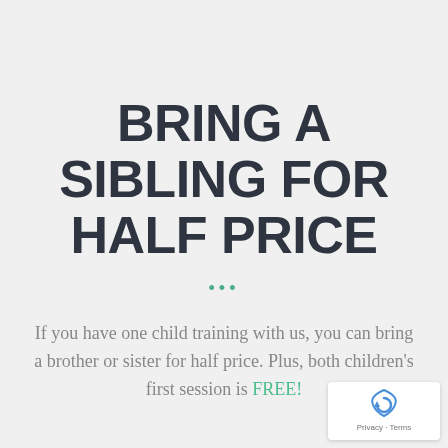BRING A SIBLING FOR HALF PRICE
• • •
If you have one child training with us, you can bring a brother or sister for half price. Plus, both children's first session is FREE!
[Figure (logo): reCAPTCHA badge with shield icon and 'Privacy - Terms' text]